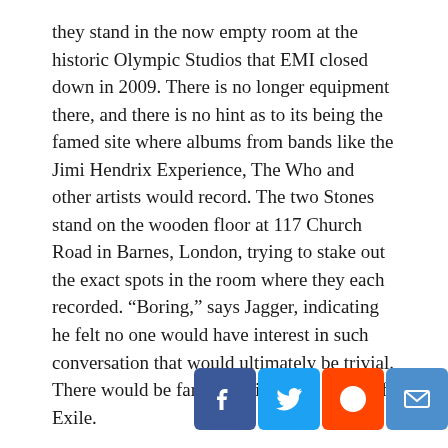they stand in the now empty room at the historic Olympic Studios that EMI closed down in 2009. There is no longer equipment there, and there is no hint as to its being the famed site where albums from bands like the Jimi Hendrix Experience, The Who and other artists would record. The two Stones stand on the wooden floor at 117 Church Road in Barnes, London, trying to stake out the exact spots in the room where they each recorded. “Boring,” says Jagger, indicating he felt no one would have interest in such conversation that would ultimately be trivial. There would be far more discuss in terms of Exile.
Viewers are heaped with visuals and sound throughout the DVD that make it a film to be viewed more than once. Archival recordings include segments from Casey Kasem’s American Top 40 radio show. The clip from the January 29, 1969 press conference, wherein Jagger described himself as “financially dissatisfied, sexually satisfied, and